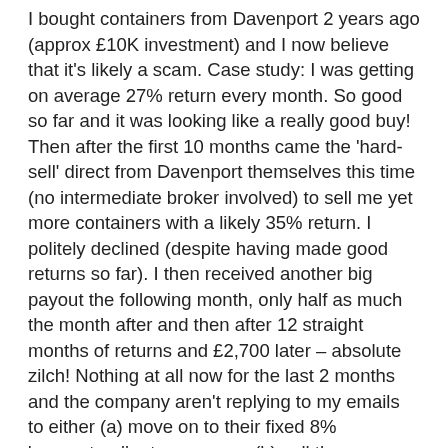I bought containers from Davenport 2 years ago (approx £10K investment) and I now believe that it's likely a scam. Case study: I was getting on average 27% return every month. So good so far and it was looking like a really good buy! Then after the first 10 months came the 'hard-sell' direct from Davenport themselves this time (no intermediate broker involved) to sell me yet more containers with a likely 35% return. I politely declined (despite having made good returns so far). I then received another big payout the following month, only half as much the month after and then after 12 straight months of returns and £2,700 later – absolute zilch! Nothing at all now for the last 2 months and the company aren't replying to my emails to either (a) move on to their fixed 8% 'guaranteed' return or even (b) sell the containers early (both options are in the contract). I think they give you back something on your investment quite quickly and for just long enough to tempt you to part with even more money, but the idea is that you will never get back even half of what you originally paid, and to omit this not for